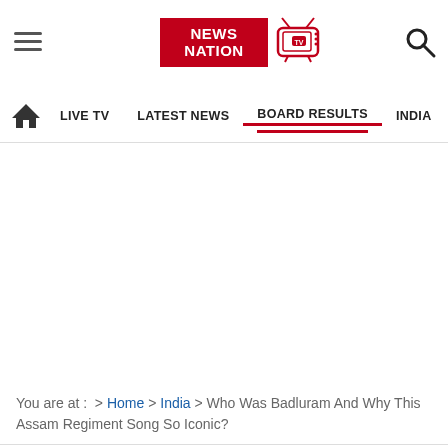[Figure (logo): News Nation website header with hamburger menu, News Nation logo in red, TV icon, and search icon]
LIVE TV   LATEST NEWS   BOARD RESULTS   INDIA   W
You are at :  > Home > India > Who Was Badluram And Why This Assam Regiment Song So Iconic?